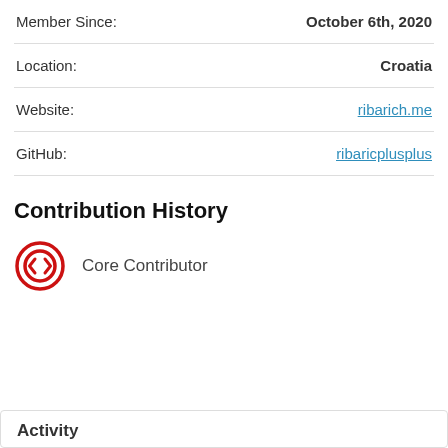Member Since:   October 6th, 2020
Location:   Croatia
Website:   ribarich.me
GitHub:   ribaricplusplus
Contribution History
[Figure (illustration): Red circular icon with diamond/chevron code symbol inside, representing Core Contributor badge]
Core Contributor
Activity